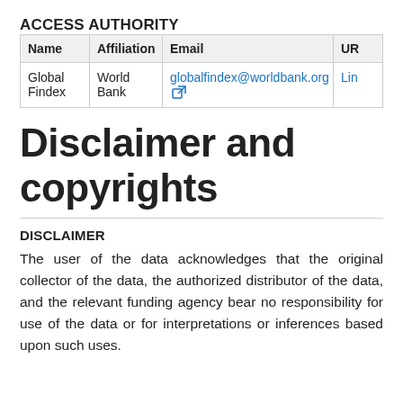ACCESS AUTHORITY
| Name | Affiliation | Email | UR |
| --- | --- | --- | --- |
| Global Findex | World Bank | globalfindex@worldbank.org [icon] | Lin |
Disclaimer and copyrights
DISCLAIMER
The user of the data acknowledges that the original collector of the data, the authorized distributor of the data, and the relevant funding agency bear no responsibility for use of the data or for interpretations or inferences based upon such uses.